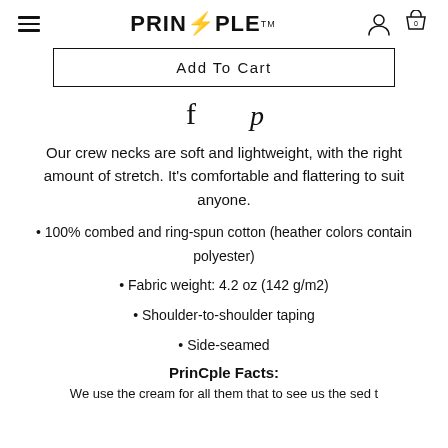PRINCPLE™ [logo with hamburger menu, user icon, cart icon with 0]
Add To Cart
[Figure (illustration): Facebook and Pinterest social share icons]
Our crew necks are soft and lightweight, with the right amount of stretch. It's comfortable and flattering to suit anyone.
100% combed and ring-spun cotton (heather colors contain polyester)
Fabric weight: 4.2 oz (142 g/m2)
Shoulder-to-shoulder taping
Side-seamed
PrinCple Facts:
We use the cream for all them that to see us the sed t